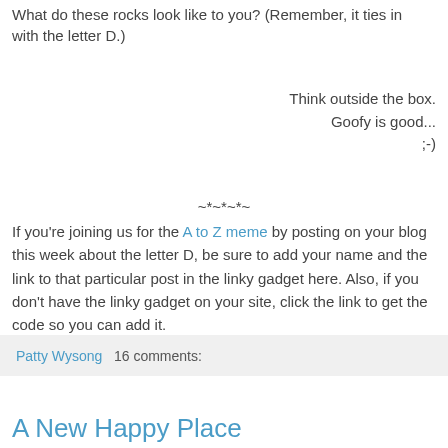What do these rocks look like to you? (Remember, it ties in with the letter D.)
Think outside the box.
Goofy is good...
;-)
~*~*~*~
If you're joining us for the A to Z meme by posting on your blog this week about the letter D, be sure to add your name and the link to that particular post in the linky gadget here. Also, if you don't have the linky gadget on your site, click the link to get the code so you can add it.
Patty Wysong    16 comments:
A New Happy Place